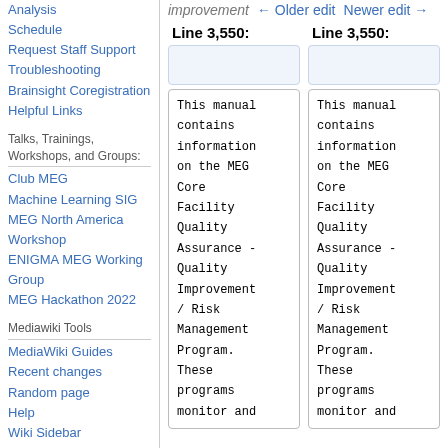Analysis
Schedule
Request Staff Support
Troubleshooting
Brainsight Coregistration
Helpful Links
Talks, Trainings, Workshops, and Groups:
Club MEG
Machine Learning SIG
MEG North America Workshop
ENIGMA MEG Working Group
MEG Hackathon 2022
Mediawiki Tools
MediaWiki Guides
Recent changes
Random page
Help
Wiki Sidebar
improvement ← Older edit  Newer edit →
Line 3,550:    Line 3,550:
This manual contains information on the MEG Core Facility Quality Assurance - Quality Improvement / Risk Management Program. These programs monitor and
This manual contains information on the MEG Core Facility Quality Assurance - Quality Improvement / Risk Management Program. These programs monitor and